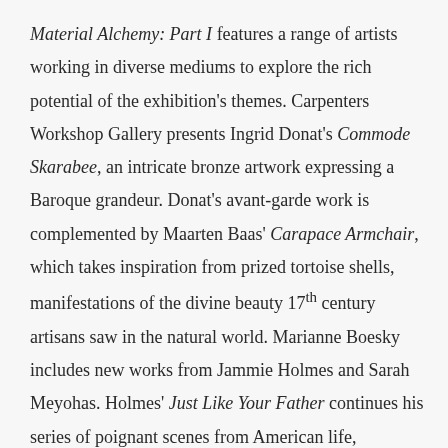Material Alchemy: Part I features a range of artists working in diverse mediums to explore the rich potential of the exhibition's themes. Carpenters Workshop Gallery presents Ingrid Donat's Commode Skarabee, an intricate bronze artwork expressing a Baroque grandeur. Donat's avant-garde work is complemented by Maarten Baas' Carapace Armchair, which takes inspiration from prized tortoise shells, manifestations of the divine beauty 17th century artisans saw in the natural world. Marianne Boesky includes new works from Jammie Holmes and Sarah Meyohas. Holmes' Just Like Your Father continues his series of poignant scenes from American life, contrasted against Meyohas' illusory photographic abstractions